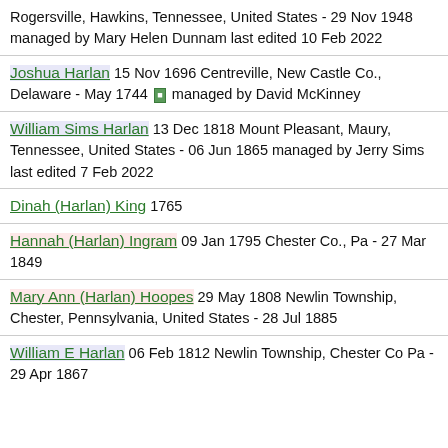Rogersville, Hawkins, Tennessee, United States - 29 Nov 1948 managed by Mary Helen Dunnam last edited 10 Feb 2022
Joshua Harlan 15 Nov 1696 Centreville, New Castle Co., Delaware - May 1744 managed by David McKinney
William Sims Harlan 13 Dec 1818 Mount Pleasant, Maury, Tennessee, United States - 06 Jun 1865 managed by Jerry Sims last edited 7 Feb 2022
Dinah (Harlan) King 1765
Hannah (Harlan) Ingram 09 Jan 1795 Chester Co., Pa - 27 Mar 1849
Mary Ann (Harlan) Hoopes 29 May 1808 Newlin Township, Chester, Pennsylvania, United States - 28 Jul 1885
William E Harlan 06 Feb 1812 Newlin Township, Chester Co Pa - 29 Apr 1867